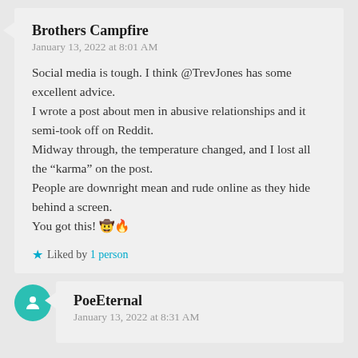Brothers Campfire
January 13, 2022 at 8:01 AM
Social media is tough. I think @TrevJones has some excellent advice.
I wrote a post about men in abusive relationships and it semi-took off on Reddit.
Midway through, the temperature changed, and I lost all the “karma” on the post.
People are downright mean and rude online as they hide behind a screen.
You got this! 🤠🔥
Liked by 1 person
PoeEternal
January 13, 2022 at 8:31 AM